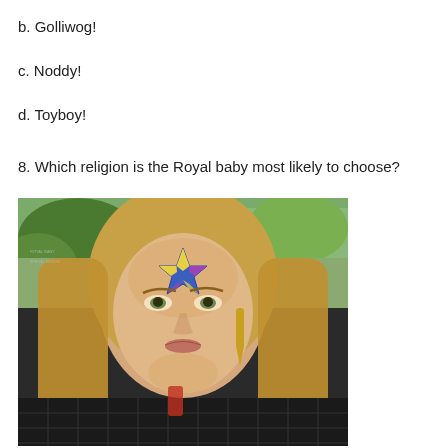b. Golliwog!
c. Noddy!
d. Toyboy!
8. Which religion is the Royal baby most likely to choose?
[Figure (photo): A young woman with long blonde hair wearing a black mesh top and gold earrings, outdoors with green foliage background. She has a pentagram star drawn on her forehead in blue, yellow and purple colors.]